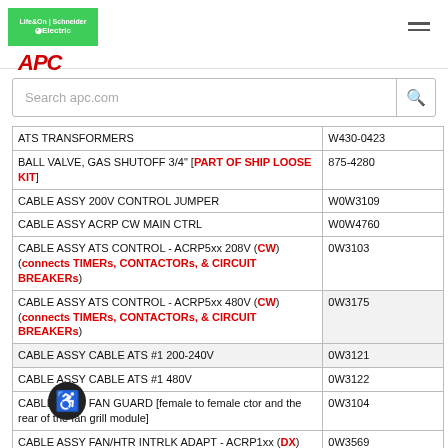Schneider Electric / APC
| Description | Part Number |
| --- | --- |
| ATS TRANSFORMERS | W430-0423 |
| BALL VALVE, GAS SHUTOFF 3/4" [PART OF SHIP LOOSE KIT] | 875-4280 |
| CABLE ASSY 200V CONTROL JUMPER | W0W3109 |
| CABLE ASSY ACRP CW MAIN CTRL | W0W4760 |
| CABLE ASSY ATS CONTROL - ACRP5xx 208V (CW) (connects TIMERs, CONTACTORs, & CIRCUIT BREAKERs) | 0W3103 |
| CABLE ASSY ATS CONTROL - ACRP5xx 480V (CW) (connects TIMERs, CONTACTORs, & CIRCUIT BREAKERs) | 0W3175 |
| CABLE ASSY CABLE ATS #1 200-240V | 0W3121 |
| CABLE ASSY CABLE ATS #1 480V | 0W3122 |
| CABLE ASSY FAN GUARD [female to female ctor and the rear of the fan grill module] | 0W3104 |
| CABLE ASSY FAN/HTR INTRLK ADAPT - ACRP1xx (DX) (P30A to P5 & P6) | 0W3569 |